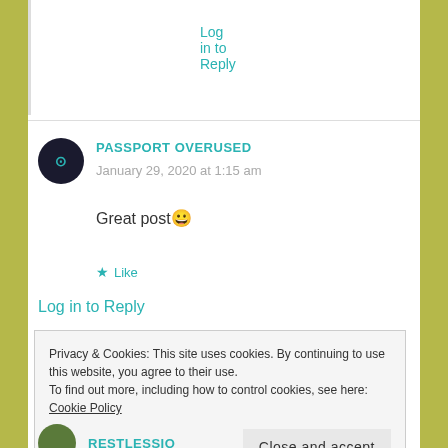Log in to Reply
PASSPORT OVERUSED
January 29, 2020 at 1:15 am
Great post😀
★ Like
Log in to Reply
Privacy & Cookies: This site uses cookies. By continuing to use this website, you agree to their use.
To find out more, including how to control cookies, see here: Cookie Policy
Close and accept
RESTLESSIO